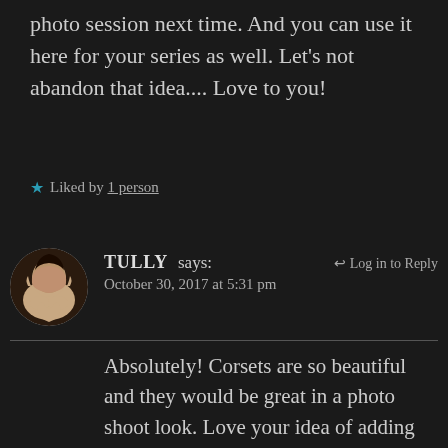photo session next time. And you can use it here for your series as well. Let's not abandon that idea.... Love to you!
★ Liked by 1 person
TULLY says: ↩ Log in to Reply
October 30, 2017 at 5:31 pm
Absolutely! Corsets are so beautiful and they would be great in a photo shoot look. Love your idea of adding them here!